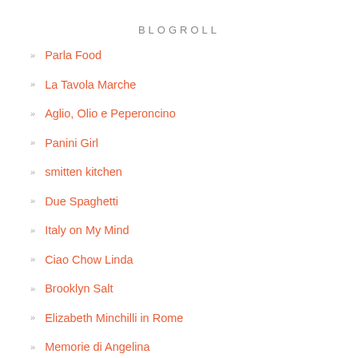BLOGROLL
Parla Food
La Tavola Marche
Aglio, Olio e Peperoncino
Panini Girl
smitten kitchen
Due Spaghetti
Italy on My Mind
Ciao Chow Linda
Brooklyn Salt
Elizabeth Minchilli in Rome
Memorie di Angelina
Juls' Kitchen
Silvia's Cucina